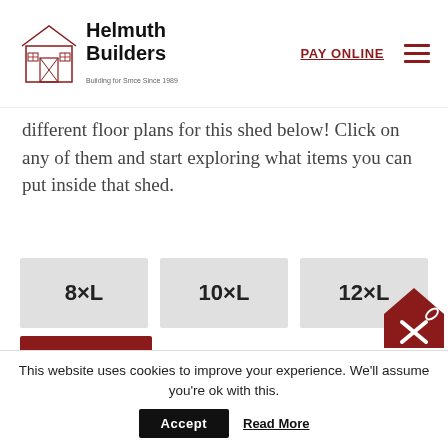[Figure (logo): Helmuth Builders logo with barn/shed icon and company name]
PAY ONLINE
different floor plans for this shed below! Click on any of them and start exploring what items you can put inside that shed.
8×L
10×L
12×L
14×L
14×18
14×20
14×22
This website uses cookies to improve your experience. We'll assume you're ok with this.
Accept
Read More